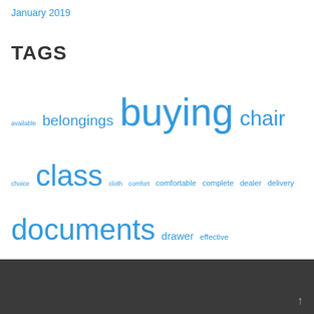January 2019
TAGS
available belongings buying chair choice class cloth comfort comfortable complete dealer delivery documents drawer effective excellent fireproof flower house humidifier important light mattress money night office ought people person products protect purchases quality really resistant shape shipping sleep space specialty stone store storing valuables water